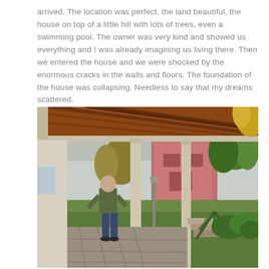arrived. The location was perfect, the land beautiful, the house on top of a little hill with lots of trees, even a swimming pool. The owner was very kind and showed us everything and I was already imagining us living there. Then we entered the house and we were shocked by the enormous cracks in the walls and floors. The foundation of the house was collapsing. Needless to say that my dreams scattered.
[Figure (photo): A person standing under a covered outdoor patio/pergola with concrete columns and a corrugated metal roof. In the background is a pink building, green trees, shrubs, and a garden with stone paving. The scene appears to be at a rural property.]